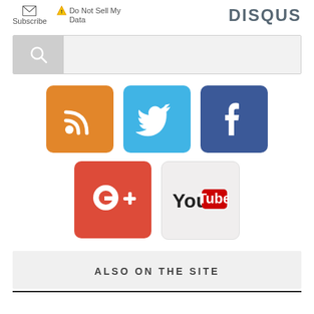[Figure (screenshot): Top bar with Subscribe (envelope icon), Do Not Sell My Data (warning icon), and DISQUS logo]
[Figure (screenshot): Search bar with magnifying glass icon on gray background and light gray input area]
[Figure (logo): Social media icons: RSS (orange), Twitter (blue), Facebook (dark blue), Google+ (red), YouTube (light gray)]
ALSO ON THE SITE